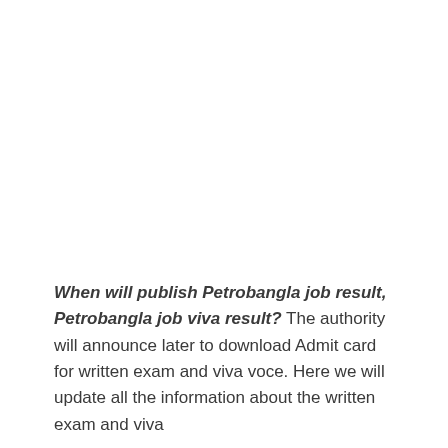When will publish Petrobangla job result, Petrobangla job viva result? The authority will announce later to download Admit card for written exam and viva voce. Here we will update all the information about the written exam and viva